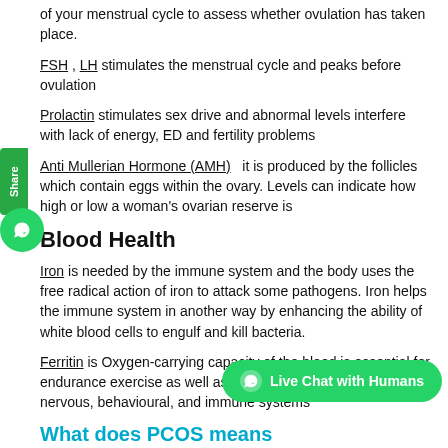of your menstrual cycle to assess whether ovulation has taken place.
FSH , LH stimulates the menstrual cycle and peaks before ovulation
Prolactin stimulates sex drive and abnormal levels interfere with lack of energy, ED and fertility problems
Anti Mullerian Hormone (AMH)  it is produced by the follicles which contain eggs within the ovary. Levels can indicate how high or low a woman's ovarian reserve is
Blood Health
Iron is needed by the immune system and the body uses the free radical action of iron to attack some pathogens. Iron helps the immune system in another way by enhancing the ability of white blood cells to engulf and kill bacteria.
Ferritin is Oxygen-carrying capacity of the blood is essential for endurance exercise as well as for normal function of the nervous, behavioural, and immune systems
What does PCOS means